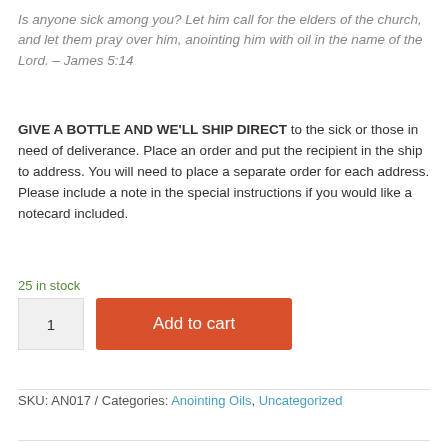Is anyone sick among you? Let him call for the elders of the church, and let them pray over him, anointing him with oil in the name of the Lord. – James 5:14
GIVE A BOTTLE AND WE'LL SHIP DIRECT to the sick or those in need of deliverance. Place an order and put the recipient in the ship to address. You will need to place a separate order for each address. Please include a note in the special instructions if you would like a notecard included.
25 in stock
1
Add to cart
SKU: AN017 / Categories: Anointing Oils, Uncategorized